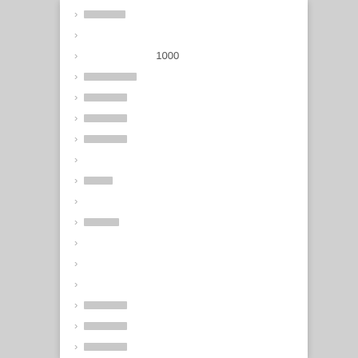〉 ██████
〉
〉 1000
〉 ████████
〉 ███████
〉 ███████
〉 ███████
〉
〉 ████
〉
〉 █████
〉
〉
〉
〉 ███████
〉 ███████
〉 ███████
〉
〉 ████